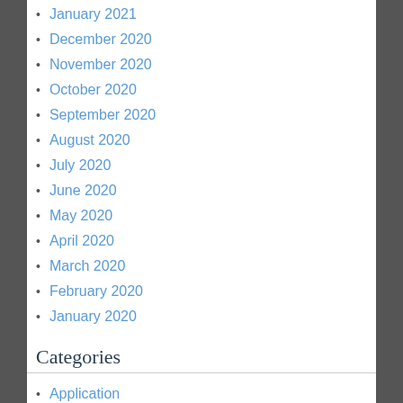January 2021
December 2020
November 2020
October 2020
September 2020
August 2020
July 2020
June 2020
May 2020
April 2020
March 2020
February 2020
January 2020
Categories
Application
Automobile
Beauty
Business
Dental